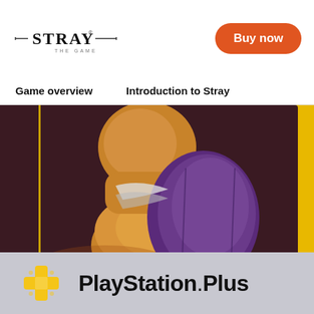[Figure (logo): Stray video game logo — stylized text 'STRAY' with decorative dashes]
Buy now
Game overview
Introduction to Stray
[Figure (photo): Close-up photo of an orange cat wearing a purple harness/backpack, viewed from behind, against a dark maroon background with a yellow accent on the right edge]
[Figure (logo): PlayStation Plus logo — golden PS+ cross symbol followed by 'PlayStation Plus' text in bold black]
PlayStation Plus